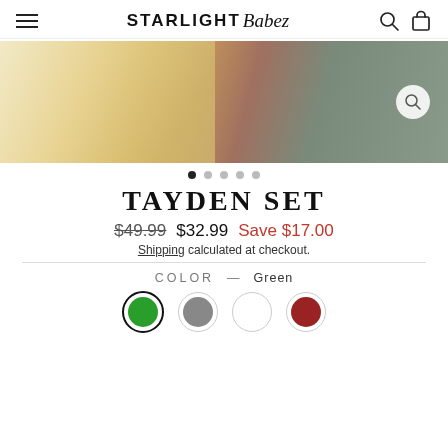STARLIGHT Babez
[Figure (photo): Close-up product image of a baby/child wearing a patterned outfit, shown from below, with yellow sun/floral print fabric visible on the left and gray cushion fabric on the right.]
TAYDEN SET
$49.99  $32.99  Save $17.00
Shipping calculated at checkout.
COLOR — Green
[Figure (illustration): Four color swatches in a row: green (selected/outlined), gray, white, and dark red/burgundy.]